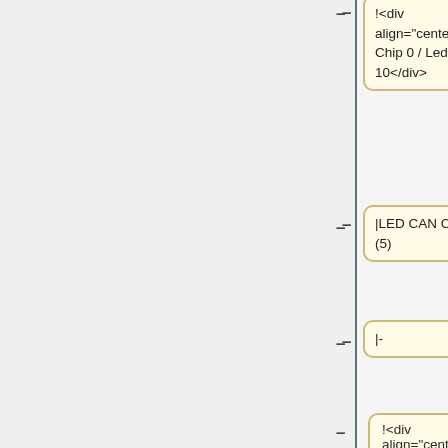[Figure (flowchart): Vertical flowchart/diagram showing wiki table markup nodes connected by lines with dashes. Nodes include: '!<div align="center"> Chip 0 / Led 10</div>', '|LED CAN COM (5)', '|-', '!<div align="center"> Chip 1 / Led 13</div>', '!<div align="center"> Chip 0 / Led 9</div>', '|LED P1 (6)', '|-', '!<div...'.]